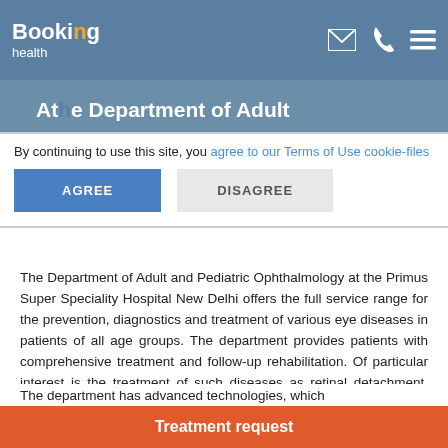Booking health
At the Department of Adult and Pediatric Ophthalmology
By continuing to use this site, you agree to our Terms of Use cookie-files
The Department of Adult and Pediatric Ophthalmology at the Primus Super Speciality Hospital New Delhi offers the full service range for the prevention, diagnostics and treatment of various eye diseases in patients of all age groups. The department provides patients with comprehensive treatment and follow-up rehabilitation. Of particular interest is the treatment of such diseases as retinal detachment, cataract and glaucoma. The treatment is carried out using state-of-the-art medical equipment, which contributes to the best possible preservation of vision even in the most difficult clinical cases. The department is headed Dr. med.
Treatment request
The department has advanced technologies, which